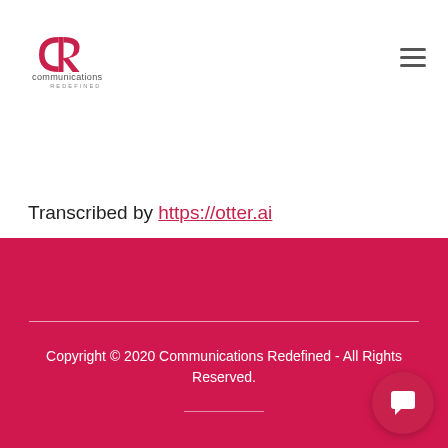Communications Redefined logo and navigation menu
Transcribed by https://otter.ai
Copyright © 2020 Communications Redefined - All Rights Reserved.